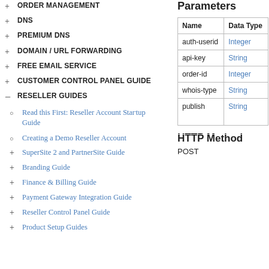+ ORDER MANAGEMENT
+ DNS
+ PREMIUM DNS
+ DOMAIN / URL FORWARDING
+ FREE EMAIL SERVICE
+ CUSTOMER CONTROL PANEL GUIDE
- RESELLER GUIDES
○ Read this First: Reseller Account Startup Guide
○ Creating a Demo Reseller Account
+ SuperSite 2 and PartnerSite Guide
+ Branding Guide
+ Finance & Billing Guide
+ Payment Gateway Integration Guide
+ Reseller Control Panel Guide
+ Product Setup Guides
Parameters
| Name | Data Type |
| --- | --- |
| auth-userid | Integer |
| api-key | String |
| order-id | Integer |
| whois-type | String |
| publish | String |
HTTP Method
POST